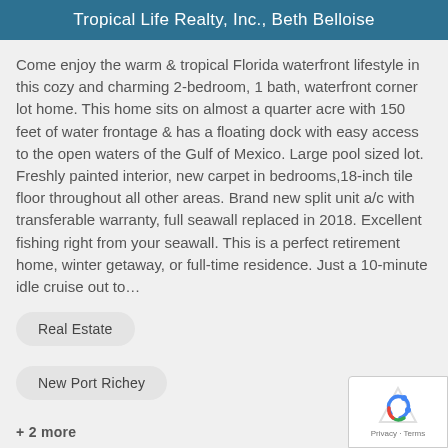Tropical Life Realty, Inc., Beth Belloise
Come enjoy the warm & tropical Florida waterfront lifestyle in this cozy and charming 2-bedroom, 1 bath, waterfront corner lot home. This home sits on almost a quarter acre with 150 feet of water frontage & has a floating dock with easy access to the open waters of the Gulf of Mexico. Large pool sized lot. Freshly painted interior, new carpet in bedrooms,18-inch tile floor throughout all other areas. Brand new split unit a/c with transferable warranty, full seawall replaced in 2018. Excellent fishing right from your seawall. This is a perfect retirement home, winter getaway, or full-time residence. Just a 10-minute idle cruise out to…
Real Estate
New Port Richey
+ 2 more